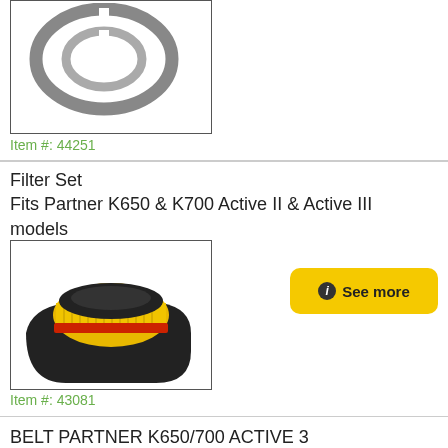[Figure (photo): Two piston rings lying flat, grey metallic rings on white background]
Item #: 44251
Filter Set
Fits Partner K650 & K700 Active II & Active III models
[Figure (photo): Air filter set with yellow pleated filter element and black foam pre-filter base for Partner K650/K700]
See more
Item #: 43081
BELT PARTNER K650/700 ACTIVE 3